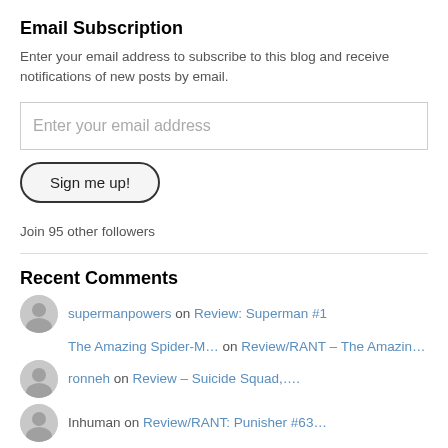Email Subscription
Enter your email address to subscribe to this blog and receive notifications of new posts by email.
Enter your email address
Sign me up!
Join 95 other followers
Recent Comments
supermanpowers on Review: Superman #1
The Amazing Spider-M... on Review/RANT – The Amazin…
ronneh on Review – Suicide Squad,….
Inhuman on Review/RANT: Punisher #63….